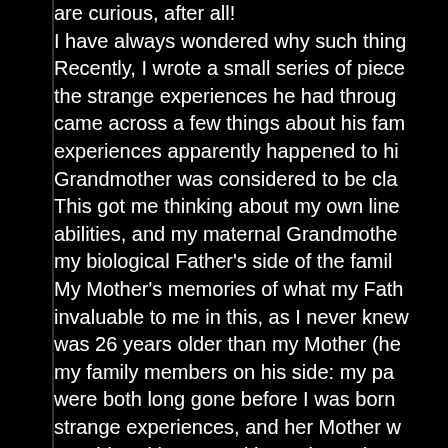are curious, after all! I have always wondered why such things Recently, I wrote a small series of pieces the strange experiences he had through came across a few things about his fam experiences apparently happened to hi Grandmother was considered to be cla This got me thinking about my own line abilities, and my maternal Grandmothe my biological Father's side of the famil My Mother's memories of what my Fath invaluable to me in this, as I never knew was 26 years older than my Mother (he my family members on his side: my pa were both long gone before I was born strange experiences, and her Mother w considered in superstition to be a sign